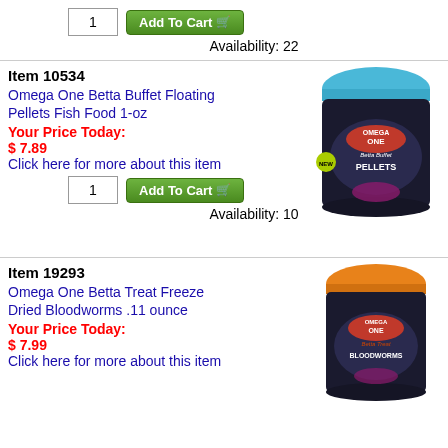1
Add To Cart
Availability: 22
Item 10534
Omega One Betta Buffet Floating Pellets Fish Food 1-oz
Your Price Today:
$ 7.89
Click here for more about this item
[Figure (photo): Omega One Betta Buffet Pellets fish food container with blue lid]
1
Add To Cart
Availability: 10
Item 19293
Omega One Betta Treat Freeze Dried Bloodworms .11 ounce
Your Price Today:
$ 7.99
Click here for more about this item
[Figure (photo): Omega One Betta Treat Bloodworms fish food container with orange lid]